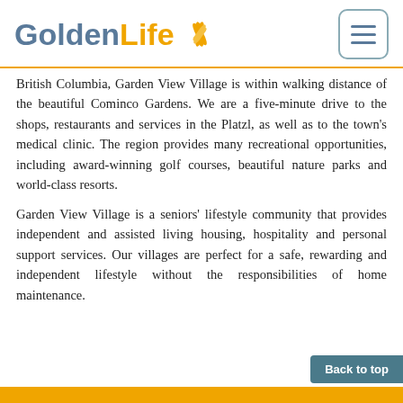[Figure (logo): GoldenLife logo with stylized sun/leaf graphic in gold and blue-grey text]
British Columbia, Garden View Village is within walking distance of the beautiful Cominco Gardens. We are a five-minute drive to the shops, restaurants and services in the Platzl, as well as to the town's medical clinic. The region provides many recreational opportunities, including award-winning golf courses, beautiful nature parks and world-class resorts.
Garden View Village is a seniors' lifestyle community that provides independent and assisted living housing, hospitality and personal support services. Our villages are perfect for a safe, rewarding and independent lifestyle without the responsibilities of home maintenance.